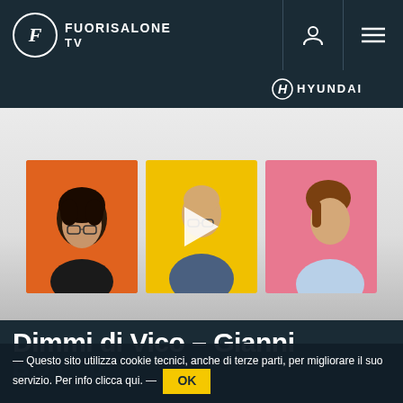FUORISALONE TV
[Figure (logo): Hyundai logo in white on dark background]
[Figure (photo): Three portrait thumbnails: person on orange background, bald man on yellow background with play button overlay, man on pink background]
Dimmi di Vico – Gianni
Bion... p
— Questo sito utilizza cookie tecnici, anche di terze parti, per migliorare il suo servizio. Per info clicca qui. — OK